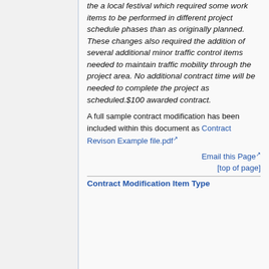the a local festival which required some work items to be performed in different project schedule phases than as originally planned. These changes also required the addition of several additional minor traffic control items needed to maintain traffic mobility through the project area. No additional contract time will be needed to complete the project as scheduled.$100 awarded contract.
A full sample contract modification has been included within this document as Contract Revison Example file.pdf
Email this Page
[top of page]
Contract Modification Item Type